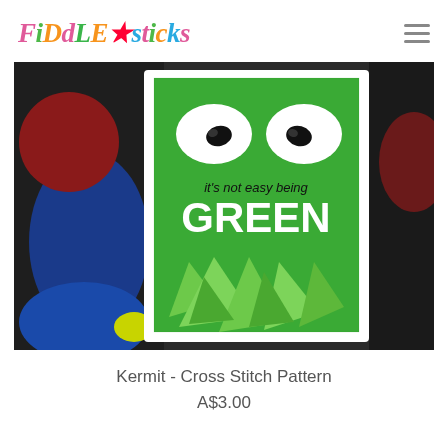Fiddlesticks
[Figure (photo): A framed cross stitch pattern showing Kermit the Frog's eyes and the text 'it's not easy being GREEN' on a green background, displayed against a background of colorful stuffed toys.]
Kermit - Cross Stitch Pattern
A$3.00